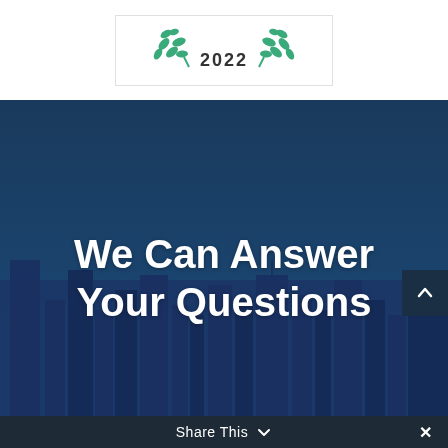[Figure (logo): Award badge with green laurel leaves on both sides and the year 2022 in the center, shown in a bordered white box]
We Can Answer Your Questions
[Figure (illustration): Dark blue city skyline silhouette background with buildings visible]
Share This ∨